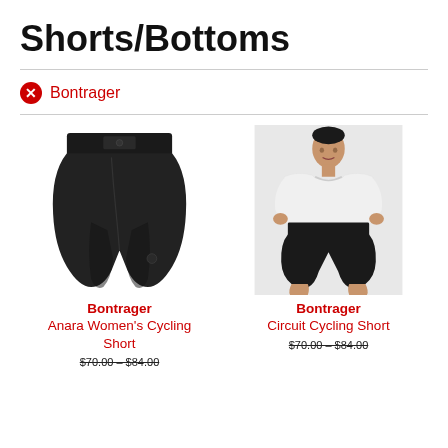Shorts/Bottoms
Bontrager
[Figure (photo): Black women's cycling shorts displayed on a form/mannequin, front view]
Bontrager
Anara Women's Cycling Short
[Figure (photo): Man wearing black cycling shorts and white t-shirt, hands on hips]
Bontrager
Circuit Cycling Short